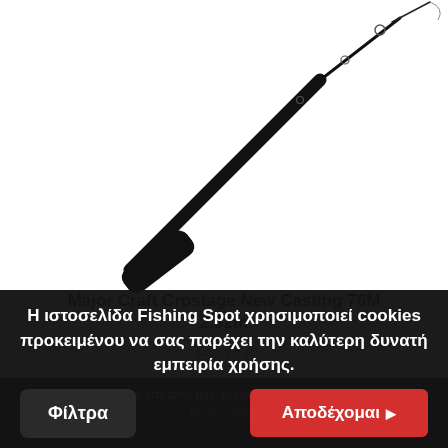[Figure (photo): A fishing rod (Major Craft Crostage New Casting 76M) shown diagonally against a white background, dark handle at bottom left, tip at top right.]
Major Craft Crostage New Casting 76M 2.32m
197,73 €
Η ιστοσελίδα Fishing Spot χρησιμοποιεί cookies προκειμένου να σας παρέχει την καλύτερη δυνατή εμπειρία χρήσης.
Χρησιμοποιώντας τον ιστότοπο μας, συμφωνείτε με τη χρήση των cookies. Περισσότερα
Φίλτρα
Αποδέχομαι